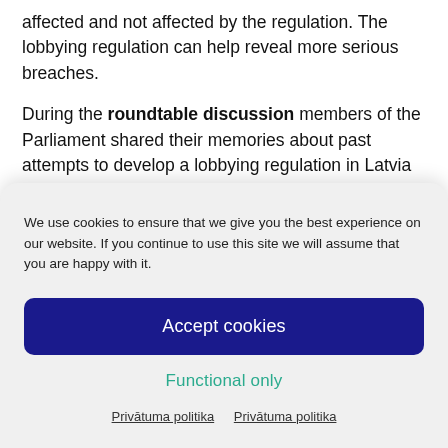affected and not affected by the regulation. The lobbying regulation can help reveal more serious breaches.
During the roundtable discussion members of the Parliament shared their memories about past attempts to develop a lobbying regulation in Latvia and about interesting occurrences which they
We use cookies to ensure that we give you the best experience on our website. If you continue to use this site we will assume that you are happy with it.
Accept cookies
Functional only
Privātuma politika   Privātuma politika